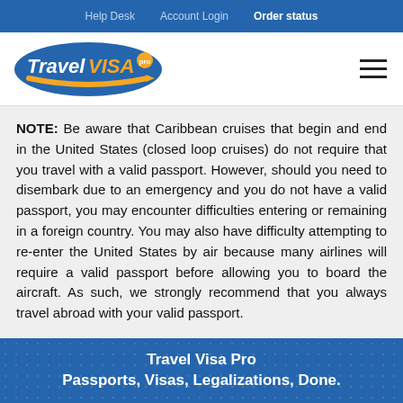Help Desk   Account Login   Order status
[Figure (logo): Travel Visa Pro logo with blue oval and orange arrow]
NOTE: Be aware that Caribbean cruises that begin and end in the United States (closed loop cruises) do not require that you travel with a valid passport. However, should you need to disembark due to an emergency and you do not have a valid passport, you may encounter difficulties entering or remaining in a foreign country. You may also have difficulty attempting to re-enter the United States by air because many airlines will require a valid passport before allowing you to board the aircraft. As such, we strongly recommend that you always travel abroad with your valid passport.
Travel Visa Pro
Passports, Visas, Legalizations, Done.